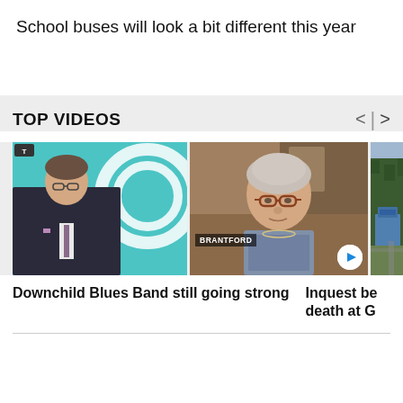School buses will look a bit different this year
TOP VIDEOS
[Figure (photo): Video thumbnail 1: TV news anchor man in suit with Comedy Central-style logo in background]
[Figure (photo): Video thumbnail 2: Elderly woman with glasses in video call, labeled BRANTFORD, with play button]
[Figure (photo): Video thumbnail 3: Aerial view of industrial/mining facility surrounded by forest]
Downchild Blues Band still going strong
Inquest be death at G